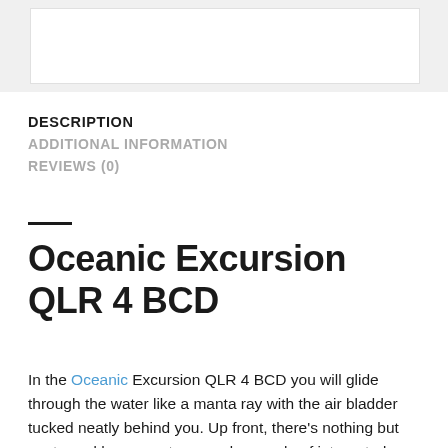[Figure (other): White image placeholder box on grey background at top of page]
DESCRIPTION
ADDITIONAL INFORMATION
REVIEWS (0)
Oceanic Excursion QLR 4 BCD
In the Oceanic Excursion QLR 4 BCD you will glide through the water like a manta ray with the air bladder tucked neatly behind you. Up front, there's nothing but contoured harness straps and a couple of integrated weight pockets. In other words, you'll